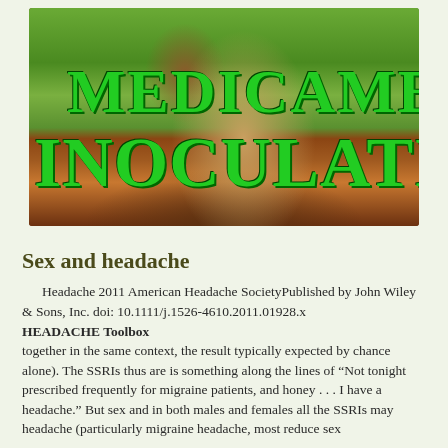[Figure (photo): Woman with long flowing dark hair, smiling, outdoors with green background. Text overlay reads 'MEDICAMENT' on top line and 'INOCULATION' on bottom line in large bold green serif font.]
Sex and headache
Headache 2011 American Headache SocietyPublished by John Wiley & Sons, Inc. doi: 10.1111/j.1526-4610.2011.01928.x HEADACHE Toolbox together in the same context, the result typically expected by chance alone). The SSRIs thus are is something along the lines of “Not tonight prescribed frequently for migraine patients, and honey . . . I have a headache.” But sex and in both males and females all the SSRIs may headache (particularly migraine headache, most reduce sex